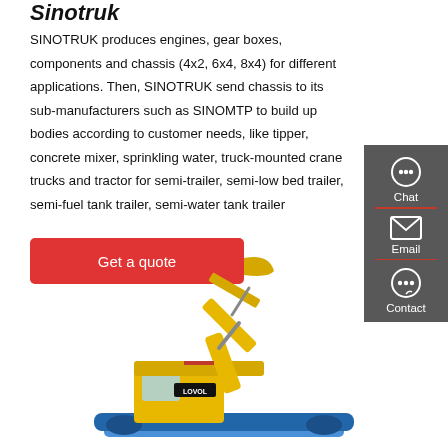Sinotruk
SINOTRUK produces engines, gear boxes, components and chassis (4x2, 6x4, 8x4) for different applications. Then, SINOTRUK send chassis to its sub-manufacturers such as SINOMTP to build up bodies according to customer needs, like tipper, concrete mixer, sprinkling water, truck-mounted crane trucks and tractor for semi-trailer, semi-low bed trailer, semi-fuel tank trailer, semi-water tank trailer
[Figure (other): Red 'Get a quote' button]
[Figure (other): Dark sidebar with Chat, Email, and Contact icons]
[Figure (photo): Yellow LOVOL excavator/crawler crane machinery on white background]